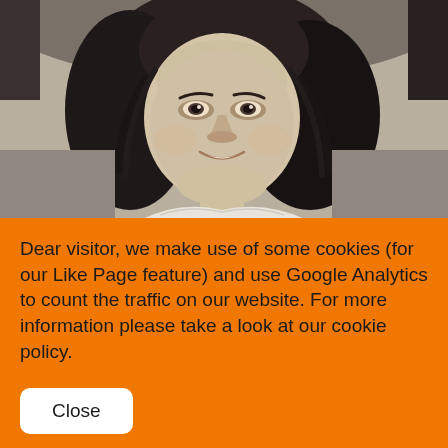[Figure (photo): Black-and-white portrait photograph of a young girl with dark curly hair, smiling, wearing a white top with lace collar detail.]
Dear visitor, we make use of some cookies (for our Like Page feature) and use Google Analytics to count the traffic on our website. For more information please take a look at our cookie policy.
Close